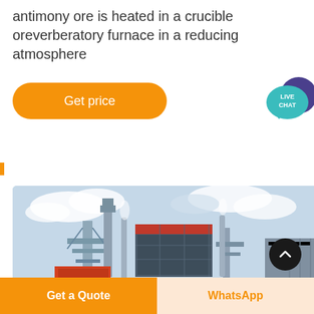antimony ore is heated in a crucible oreverberatory furnace in a reducing atmosphere
[Figure (other): Orange rounded button labeled 'Get price']
[Figure (other): Live Chat speech bubble icon with teal and purple colors]
[Figure (photo): Industrial plant / furnace equipment photograph with steel structures, red-accented box unit, pipes, and cloudy sky background]
[Figure (other): Dark circular scroll-to-top button with upward chevron]
[Figure (other): Bottom action bar with orange 'Get a Quote' button and light orange 'WhatsApp' button]